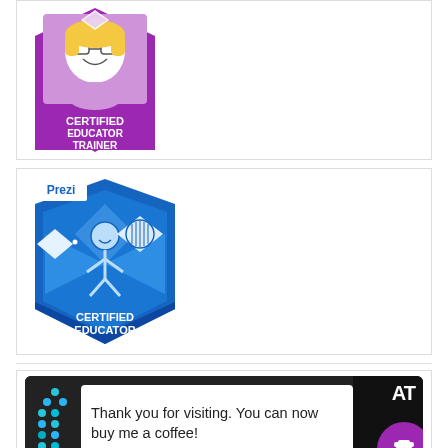[Figure (illustration): Purple hexagonal badge with a bitmoji avatar of a woman with glasses and blonde hair, labeled CERTIFIED EDUCATOR TRAINER in white text on purple background]
[Figure (illustration): Prezi Certified Educator badge - blue shield shape with 'Prezi' text, a simple stick figure person icon, decorative diamond shapes, and text CERTIFIED EDUCATOR in white on blue background]
[Figure (illustration): Buy me a coffee banner - dark background with colorful dots on left, white speech bubble saying 'Thank you for visiting. You can now buy me a coffee!' and a purple circle with coffee cup icon on the right]